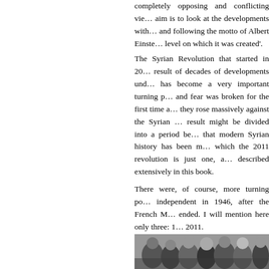completely opposing and conflicting views. Our aim is to look at the developments with fresh eyes and following the motto of Albert Einstein 'level on which it was created'.
The Syrian Revolution that started in 2011 is the result of decades of developments under Assad and has become a very important turning point. Silence and fear was broken for the first time as Syrians they rose massively against the Syrian regime. The result might be divided into a period before and that modern Syrian history has been marked by, which the 2011 revolution is just one, and is described extensively in this book.
There were, of course, more turning points independent in 1946, after the French Mandate ended. I will mention here only three: 1 2011.
[Figure (photo): Black and white photograph showing a crowd of people, likely a historical gathering or political event.]